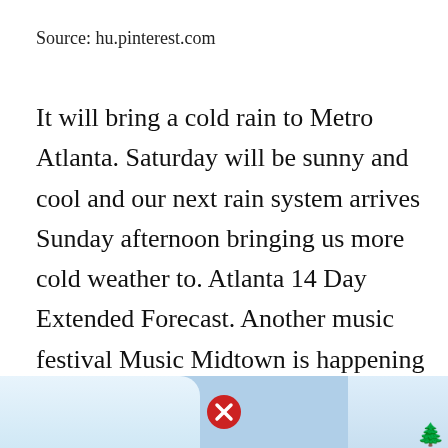Source: hu.pinterest.com
It will bring a cold rain to Metro Atlanta. Saturday will be sunny and cool and our next rain system arrives Sunday afternoon bringing us more cold weather to. Atlanta 14 Day Extended Forecast. Another music festival Music Midtown is happening this weekend at Piedmont Park in Atlanta. Cold start wet finish to the weekend.
[Figure (photo): Advertisement banner at bottom of page showing sky/clouds background with a red X close button in the center and decorative tree silhouette on the right]